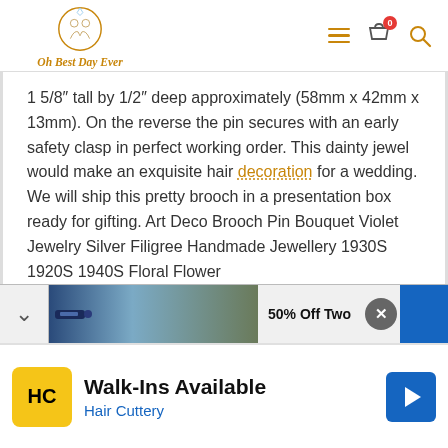Oh Best Day Ever — navigation header with logo, hamburger menu, cart (0), and search icons
1 5/8" tall by 1/2" deep approximately (58mm x 42mm x 13mm). On the reverse the pin secures with an early safety clasp in perfect working order. This dainty jewel would make an exquisite hair decoration for a wedding. We will ship this pretty brooch in a presentation box ready for gifting. Art Deco Brooch Pin Bouquet Violet Jewelry Silver Filigree Handmade Jewellery 1930S 1920S 1940S Floral Flower
[Figure (screenshot): Ad banner strip with chevron arrow, image strip showing keys and outdoor scene, text reading '50% Off Two', blue button, and close button]
[Figure (screenshot): Bottom advertisement banner: HC yellow logo, 'Walk-Ins Available' headline, 'Hair Cuttery' subtitle in blue, blue diamond arrow icon]